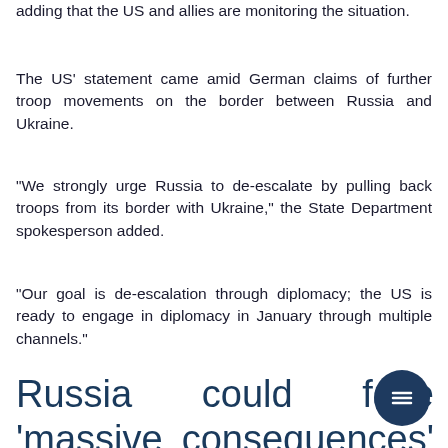adding that the US and allies are monitoring the situation.
The US' statement came amid German claims of further troop movements on the border between Russia and Ukraine.
"We strongly urge Russia to de-escalate by pulling back troops from its border with Ukraine," the State Department spokesperson added.
"Our goal is de-escalation through diplomacy; the US is ready to engage in diplomacy in January through multiple channels."
Russia could face 'massive consequences' if it inva